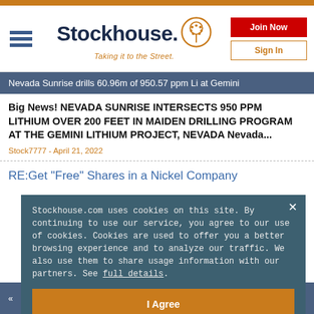[Figure (logo): Stockhouse logo with hamburger menu icon, wordmark 'Stockhouse.' with orange dot icon, tagline 'Taking it to the Street.' and Join Now / Sign In buttons]
Nevada Sunrise drills 60.96m of 950.57 ppm Li at Gemini
Big News! NEVADA SUNRISE INTERSECTS 950 PPM LITHIUM OVER 200 FEET IN MAIDEN DRILLING PROGRAM AT THE GEMINI LITHIUM PROJECT, NEVADA Nevada...
Stock7777 - April 21, 2022
RE:Get "Free" Shares in a Nickel Company
Stockhouse.com uses cookies on this site. By continuing to use our service, you agree to our use of cookies. Cookies are used to offer you a better browsing experience and to analyze our traffic. We also use them to share usage information with our partners. See full details.
I Agree